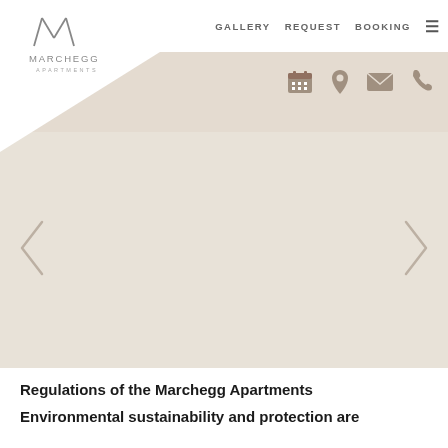[Figure (logo): Marchegg Apartments logo — stylized M letterform above text MARCHEGG APARTMENTS]
GALLERY   REQUEST   BOOKING   ☰
[Figure (infographic): Beige header band with four icons: calendar, location pin, envelope, phone]
[Figure (photo): Slideshow carousel area with left and right navigation arrows on a beige/cream background]
Regulations of the Marchegg Apartments
Environmental sustainability and protection are